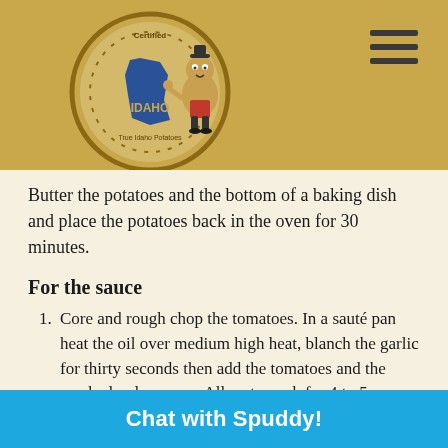[Figure (logo): Certified Idaho Potatoes logo with cartoon potato mascot character giving thumbs up]
Butter the potatoes and the bottom of a baking dish and place the potatoes back in the oven for 30 minutes.
For the sauce
Core and rough chop the tomatoes. In a sauté pan heat the oil over medium high heat, blanch the garlic for thirty seconds then add the tomatoes and the crushed red peppers. Allow to cook for 4 to 5 minutes or till the tomatoes are soft then add the wine and allow to cook for an additional 2 minutes. Place the ingredients in a blender or food processor; add the basil leaves and tomato pas…
Chat with Spuddy!